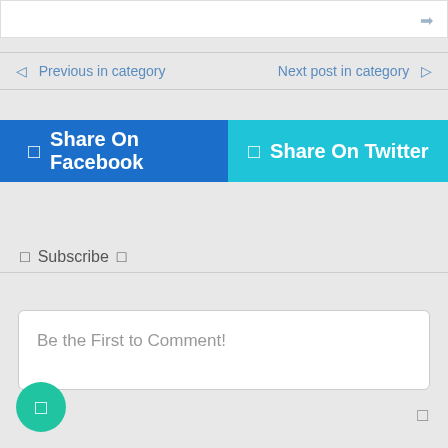[Figure (screenshot): White top bar with arrow icon on the right]
◁  Previous in category      Next post in category  ▷
☑ Share On Facebook
☑ Share On Twitter
□  Subscribe  □
Be the First to Comment!
[Figure (illustration): Teal circular chat bubble button in bottom left corner]